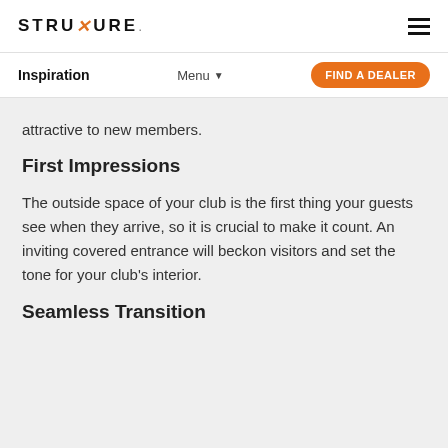STRUXURE.
Inspiration | Menu | FIND A DEALER
attractive to new members.
First Impressions
The outside space of your club is the first thing your guests see when they arrive, so it is crucial to make it count. An inviting covered entrance will beckon visitors and set the tone for your club's interior.
Seamless Transition